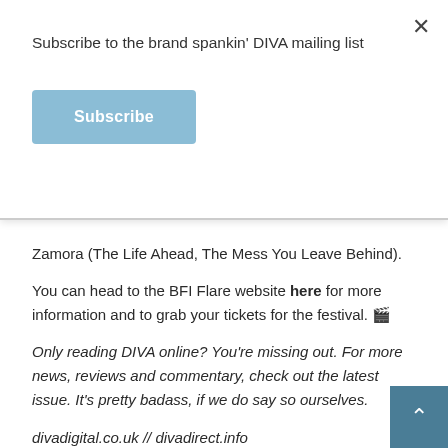Subscribe to the brand spankin' DIVA mailing list
Subscribe
Zamora (The Life Ahead, The Mess You Leave Behind).
You can head to the BFI Flare website here for more information and to grab your tickets for the festival. 🎬
Only reading DIVA online? You're missing out. For more news, reviews and commentary, check out the latest issue. It's pretty badass, if we do say so ourselves.
divadigital.co.uk // divadirect.info
Share this:
Twitter
Facebook